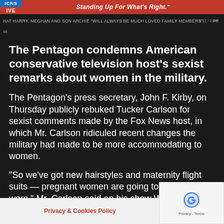[Figure (screenshot): News channel banner showing logo with 'ICNS IVE' in blue/red boxes and slogan 'Standing Up For What's Right.' in red bar, with ticker showing Harry, Meghan and Archie story]
The Pentagon condemns American conservative television host's sexist remarks about women in the military.
The Pentagon's press secretary, John F. Kirby, on Thursday publicly rebuked Tucker Carlson for sexist comments made by the Fox News host, in which Mr. Carlson ridiculed recent changes the military had made to be more accommodating to women.
“So we’ve got new hairstyles and maternity flight suits — pregnant women are going to fight our wars,” Mr. Carlson said on his show Wednesday night. “It’s a mockery of the U.S. military.”
Mr. Carlson went on to praise the Chinese milit... for increasing the nu... vy, a... move he described a...